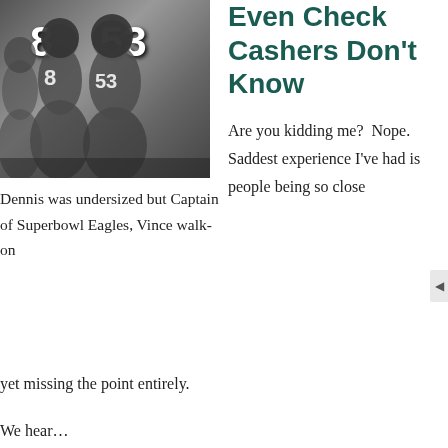[Figure (photo): Black and white photo of football players in uniforms, with jersey numbers 8 and 53 visible]
Dennis was undersized but Captain of Superbowl Eagles, Vince walk-on
Even Check Cashers Don't Know
Are you kidding me? Nope. Saddest experience I've had is people being so close yet missing the point entirely.
We hear…